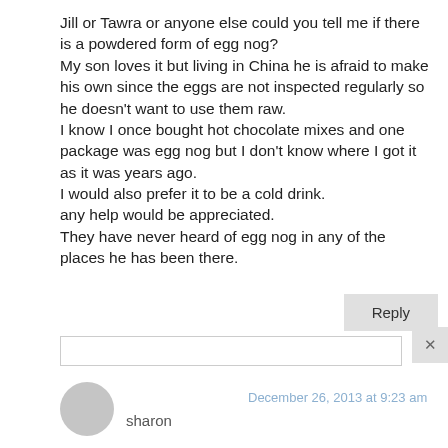Jill or Tawra or anyone else could you tell me if there is a powdered form of egg nog? My son loves it but living in China he is afraid to make his own since the eggs are not inspected regularly so he doesn't want to use them raw. I know I once bought hot chocolate mixes and one package was egg nog but I don't know where I got it as it was years ago. I would also prefer it to be a cold drink. any help would be appreciated. They have never heard of egg nog in any of the places he has been there.
Reply
December 26, 2013 at 9:23 am
sharon